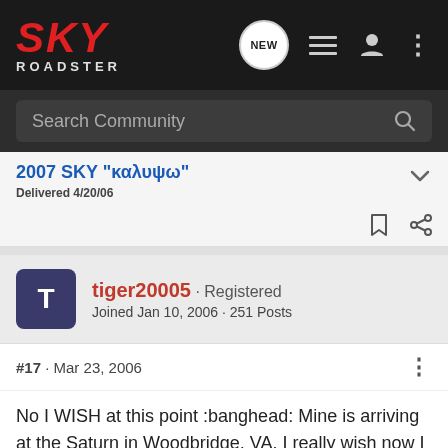[Figure (logo): SKY ROADSTER forum logo in red and white on dark background]
Search Community
2007 SKY "καλυψω"
Delivered 4/20/06
tiger20005 · Registered
Joined Jan 10, 2006 · 251 Posts
#17 · Mar 23, 2006
No I WISH at this point :banghead: Mine is arriving at the Saturn in Woodbridge, VA. I really wish now I would have gotten on the list early in Fredericksburg, VA. :willy: From what I heard about the yellow one in Fredericksburg, they are going to